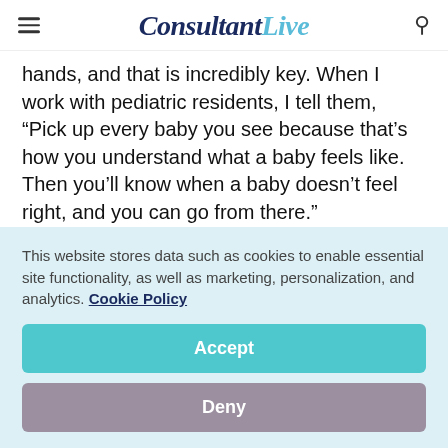ConsultantLive
hands, and that is incredibly key. When I work with pediatric residents, I tell them, “Pick up every baby you see because that’s how you understand what a baby feels like. Then you’ll know when a baby doesn’t feel right, and you can go from there.”
There are other things we’re going to look for
This website stores data such as cookies to enable essential site functionality, as well as marketing, personalization, and analytics. Cookie Policy
Accept
Deny